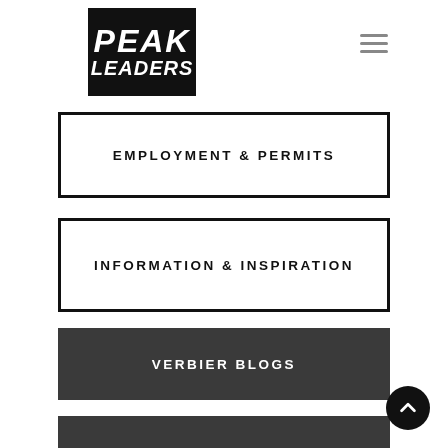[Figure (logo): Peak Leaders logo — white bold italic text on black background]
EMPLOYMENT & PERMITS
INFORMATION & INSPIRATION
VERBIER BLOGS
SAAS FEE BLOGS